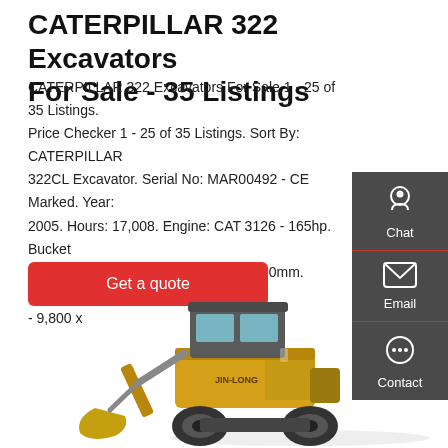CATERPILLAR 322 Excavators For Sale - 35 Listings
CATERPILLAR 322 Excavators For Sale 1 - 25 of 35 Listings. Price Checker 1 - 25 of 35 Listings. Sort By: CATERPILLAR 322CL Excavator. Serial No: MAR00492 - CE Marked. Year: 2005. Hours: 17,008. Engine: CAT 3126 - 165hp. Bucket Capacity: 1.83 Cubic Yards. Tracks: 600mm. Dims: L X W X H - 9,800 x
[Figure (other): Red 'Get a quote' button]
[Figure (other): Sidebar with Chat, Email, and Contact icons on dark grey background]
[Figure (photo): Yellow JIN-LONG wheel loader / compact excavator machine on white background]